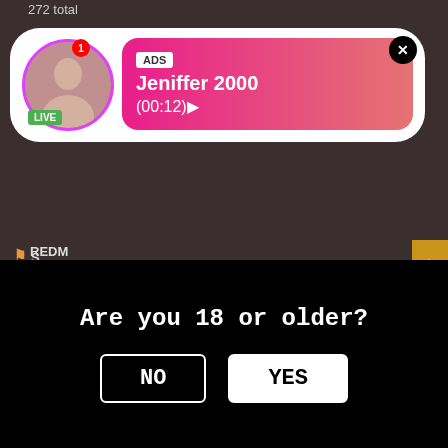272 total
[Figure (screenshot): Live ad overlay showing profile photo of 'Jeniffer 2000' with LIVE badge, ADS tag, pink/red gradient background, showing timer (00:12), with close X button]
REDM
31 total
[Figure (screenshot): Missed call ad overlay showing green phone icon circle, ADS tag, '(1)Missed Call from Eliza', message 'pleeease call me back.. I miss you!', audio progress bar showing 0:00 / 3:23, playback controls (rewind, play, fast-forward)]
D
129 total
[Figure (screenshot): Age verification overlay with black background, text 'Are you 18 or older?', NO button (black with white border), YES button (white)]
BRITI
154 total
UPSK
211 total